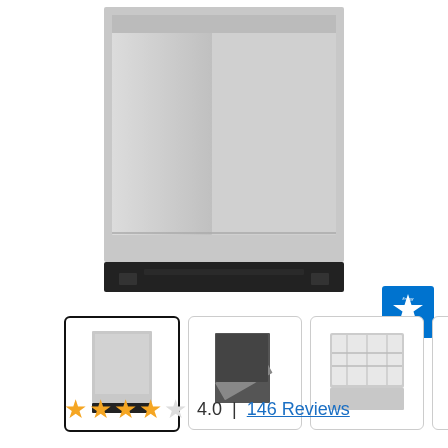[Figure (photo): Main product image of a Samsung stainless steel built-in dishwasher, front view, showing a tall rectangular appliance with a stainless steel door and a black base panel.]
[Figure (logo): ENERGY STAR certification badge, blue square with white star and text 'ENERGY STAR'.]
[Figure (photo): Thumbnail 1: Front view of the Samsung stainless steel dishwasher (selected/active thumbnail with dark border).]
[Figure (photo): Thumbnail 2: Dishwasher with door open at an angle, showing interior.]
[Figure (photo): Thumbnail 3: Interior view with door open, showing top rack.]
[Figure (photo): Thumbnail 4: Interior view with door open, showing racks from side angle.]
4.0  |  146 Reviews